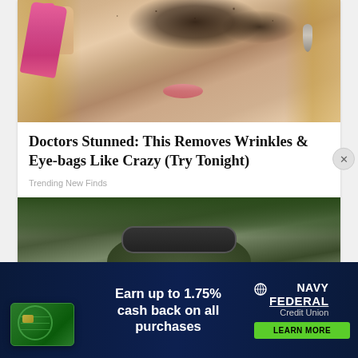[Figure (photo): Close-up of a blonde woman with heavy dark glitter/sparkle eyeshadow, pink fingernails touching her temple, wearing a dangling silver earring, with parted lips]
Doctors Stunned: This Removes Wrinkles & Eye-bags Like Crazy (Try Tonight)
Trending New Finds
[Figure (photo): Soldier in green camouflage helmet and dark tactical goggles, looking upward, partially cropped]
[Figure (infographic): Navy Federal Credit Union advertisement banner: green credit card graphic on dark navy background, text 'Earn up to 1.75% cash back on all purchases', Navy Federal Credit Union logo, green 'LEARN MORE' button]